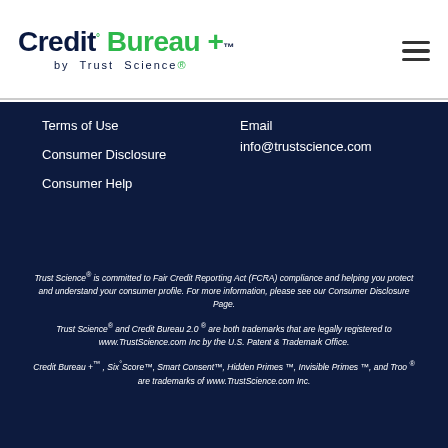[Figure (logo): Credit Bureau + by Trust Science logo with green and dark navy text, plus hamburger menu icon]
Terms of Use
Consumer Disclosure
Consumer Help
Email
info@trustscience.com
Trust Science® is committed to Fair Credit Reporting Act (FCRA) compliance and helping you protect and understand your consumer profile. For more information, please see our Consumer Disclosure Page.
Trust Science® and Credit Bureau 2.0 ® are both trademarks that are legally registered to www.TrustScience.com Inc by the U.S. Patent & Trademark Office.
Credit Bureau +™ , Six°Score™, Smart Consent™, Hidden Primes ™, Invisible Primes ™, and Troo ® are trademarks of www.TrustScience.com Inc.